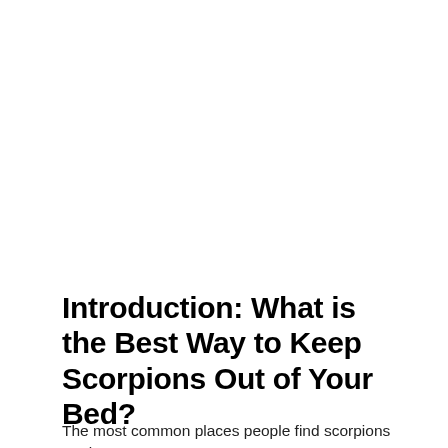Introduction: What is the Best Way to Keep Scorpions Out of Your Bed?
The most common places people find scorpions are in